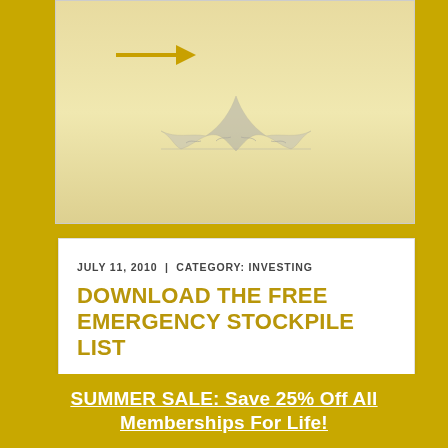[Figure (illustration): Decorative ornament/emblem at top of page on golden background, with an arrow pointing right]
JULY 11, 2010  |  CATEGORY: INVESTING
DOWNLOAD THE FREE EMERGENCY STOCKPILE LIST
On this week's radio show, I discussed the importance of having a emergency stockpile of food and water in addition to having a financial
SUMMER SALE: Save 25% Off All Memberships For Life!